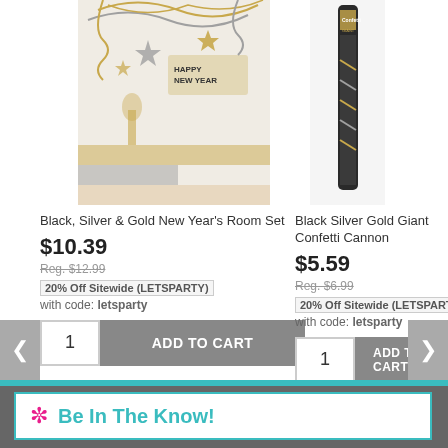[Figure (photo): New Year's room set with gold and silver hanging swirls, stars, and Happy New Year decorations]
[Figure (photo): Black Silver Gold Giant Confetti Cannon product tube]
Black, Silver & Gold New Year's Room Set
$10.39
Reg. $12.99
20% Off Sitewide (LETSPARTY)
with code: letsparty
Black Silver Gold Giant Confetti Cannon
$5.59
Reg. $6.99
20% Off Sitewide (LETSPARTY)
with code: letsparty
Be In The Know!